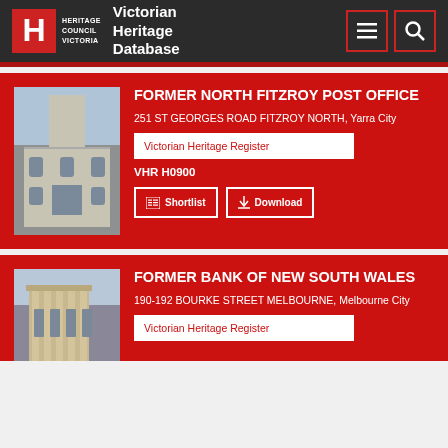Victorian Heritage Database
FORMER NORTH FITZROY POST OFFICE
251 ST GEORGES ROAD FITZROY NORTH, Yarra City
Victorian Heritage Register
VHR H0900
FORMER BANK OF NEW SOUTH WALES
190-192 BOURKE STREET MELBOURNE, Melbourne City
Victorian Heritage Register